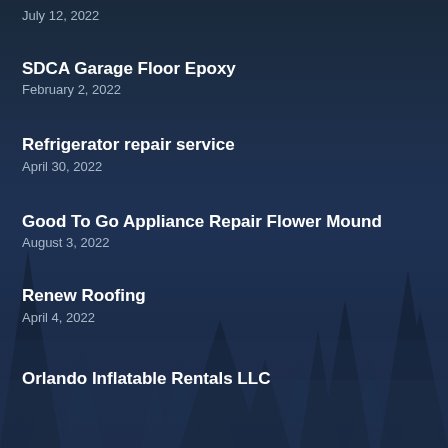July 12, 2022
SDCA Garage Floor Epoxy
February 2, 2022
Refrigerator repair service
April 30, 2022
Good To Go Appliance Repair Flower Mound
August 3, 2022
Renew Roofing
April 4, 2022
Orlando Inflatable Rentals LLC